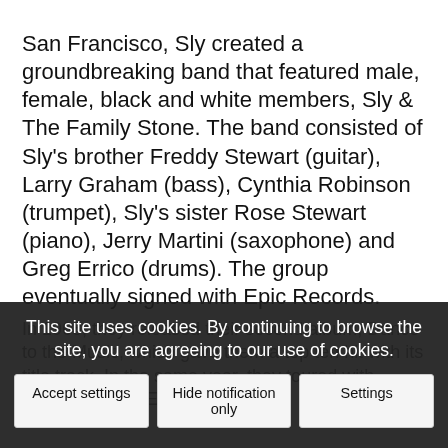San Francisco, Sly created a groundbreaking band that featured male, female, black and white members, Sly & The Family Stone. The band consisted of Sly's brother Freddy Stewart (guitar), Larry Graham (bass), Cynthia Robinson (trumpet), Sly's sister Rose Stewart (piano), Jerry Martini (saxophone) and Greg Errico (drums). The group eventually signed with Epic Records. One can infer that Sly's radio connections helped get all-important airplay for their first album.
In 1968, they released their second album, Dance to the Music, which gave them a top ten hit with its title track. In the same year, they toured with Jimmy Hendrix Experience for
This site uses cookies. By continuing to browse the site, you are agreeing to our use of cookies.
Accept settings
Hide notification only
Settings